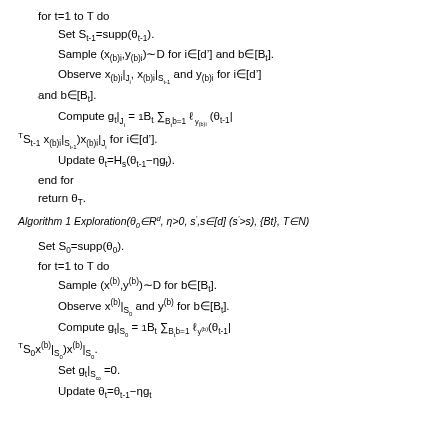for t=1 to T do
  Set S_{t-1}=supp(θ_{t-1}).
  Sample (x_{(b)i},y_{(b)i})~D for i∈[d'] and b∈[B_t].
  Observe x_{(b)i}|_{J_i}, x_{(b)i}|_{S_{t-1}} and y_{(b)i} for i∈[d'] and b∈[B_t].
  Compute g_t|_{J_i} = 1/B_t Σ_{B_t,b=1} ℓ_{y_{(b)i}}(θ_{t-1}| ^T S_{t-1} x_{(b)i}|_{S_{t-1}}) x_{(b)i}|_{J_i} for i∈[d'].
  Update θ_t=H_s(θ_{t-1}-ηg_t).
end for
return θ_T.
Algorithm 1 Exploration(θ₀∈R^d, η>0, s',s∈[d] (s'>s), {Bt}, T∈N)
Set S₀=supp(θ₀).
for t=1 to T do
  Sample (x^(b),y^(b))~D for b∈[B_t].
  Observe x^(b)|_{S₀} and y^(b) for b∈[B_t].
  Compute g_t|_{S₀} = 1/B_t Σ_{B_t,b=1} ℓ_{y^(b)}(θ_{t-1}| ^T S₀ x^(b)|_{S₀}) x^(b)|_{S₀}.
  Set g_t|_{S_co} = 0.
  Update θ_t = θ_{t-1} - ηg_t.